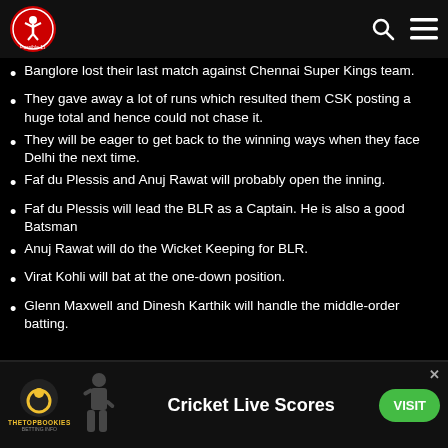Possible 11 (logo) — navigation header with search and menu icons
Banglore lost their last match against Chennai Super Kings team.
They gave away a lot of runs which resulted them CSK posting a huge total and hence could not chase it.
They will be eager to get back to the winning ways when they face Delhi the next time.
Faf du Plessis and Anuj Rawat will probably open the inning.
Faf du Plessis will lead the BLR as a Captain. He is also a good Batsman
Anuj Rawat will do the Wicket Keeping for BLR.
Virat Kohli will bat at the one-down position.
Glenn Maxwell and Dinesh Karthik will handle the middle-order batting.
[Figure (infographic): Cricket Live Scores advertisement banner with TheTopBookies logo, cricket player silhouette, and green VISIT button]